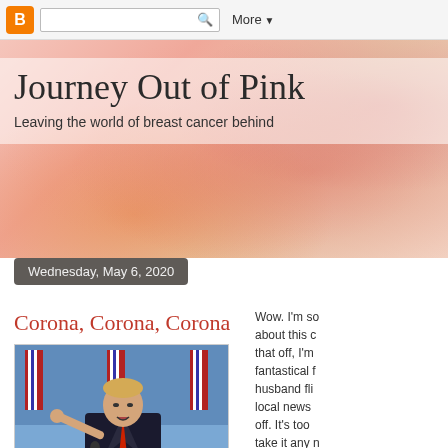B [Blogger logo] [search bar] Q   More ▼
Journey Out of Pink
Leaving the world of breast cancer behind
Wednesday, May 6, 2020
Corona, Corona, Corona
[Figure (photo): Photo of a man in a suit pointing at a podium with American flags in the background. Text overlay reads 'Fake News' in large white bold letters at the bottom.]
Wow. I'm so about this c that off, I'm fantastical f husband fli local news off. It's too take it any n
You may th